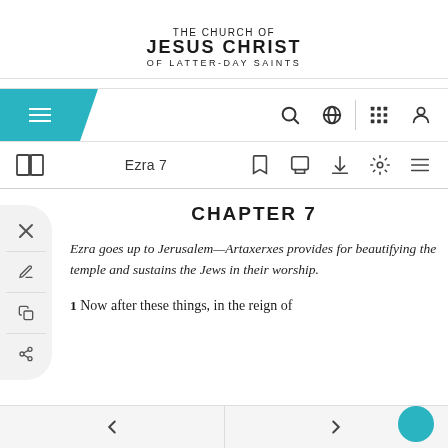THE CHURCH OF JESUS CHRIST OF LATTER-DAY SAINTS
[Figure (screenshot): Navigation bar with hamburger menu, teal block, search icon, globe icon, grid icon, and user icon]
[Figure (screenshot): Toolbar with book icon, Ezra 7 title, bookmark, print, download, settings, and list icons]
[Figure (screenshot): Side panel with close X, edit, copy, and share icons]
CHAPTER 7
Ezra goes up to Jerusalem—Artaxerxes provides for beautifying the temple and sustains the Jews in their worship.
1 Now after these things, in the reign of
← →